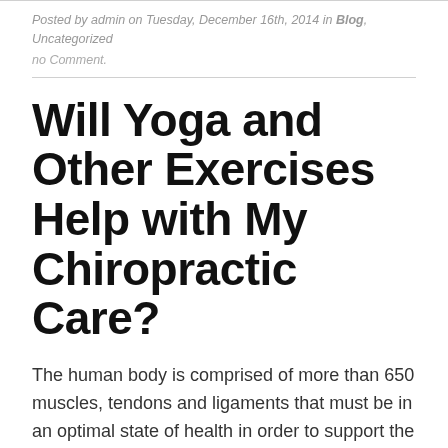Posted by admin on Tuesday, December 16th, 2014 in Blog, Uncategorized
no Comment.
Will Yoga and Other Exercises Help with My Chiropractic Care?
The human body is comprised of more than 650 muscles, tendons and ligaments that must be in an optimal state of health in order to support the movement of bones without causing pain and discomfort. When you are participating in a chiropractic care plan, it is highly recommended that you engage in a collection of exercises, such